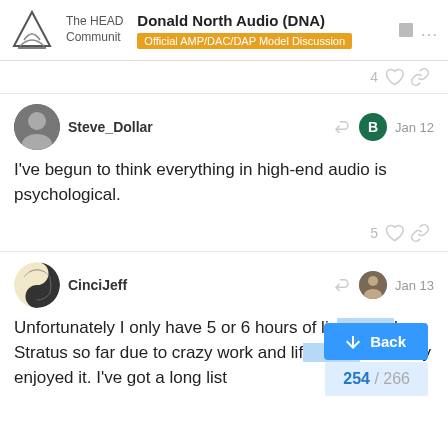The HEAD Community — Donald North Audio (DNA) — Official AMP/DAC/DAP Model Discussion
4
Steve_Dollar — Jan 12 — I've begun to think everything in high-end audio is psychological.
5
CinciJeff — Jan 13 — Unfortunately I only have 5 or 6 hours of lis... the Stratus so far due to crazy work and lif... I've really enjoyed it. I've got a long list...